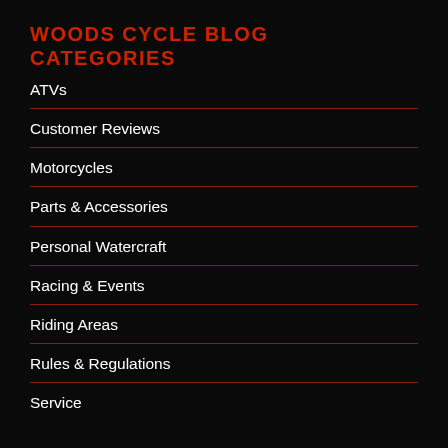WOODS CYCLE BLOG CATEGORIES
ATVs
Customer Reviews
Motorcycles
Parts & Accessories
Personal Watercraft
Racing & Events
Riding Areas
Rules & Regulations
Service